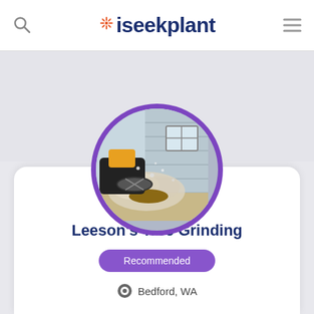iseekplant
[Figure (photo): Circular profile photo of tree grinding equipment in action with sawdust flying, bordered by a thick purple ring]
Leeson's Tree Grinding
Recommended
Bedford, WA